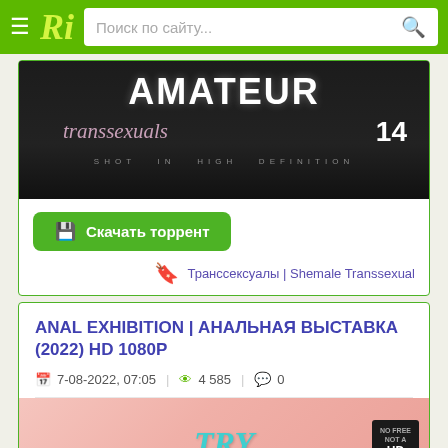Ri — Поиск по сайту...
[Figure (photo): Movie cover image showing 'AMATEUR transsexuals 14 SHOT IN HIGH DEFINITION' text on dark background]
Скачать торрент
Транссексуалы | Shemale Transsexual
ANAL EXHIBITION | АНАЛЬНАЯ ВЫСТАВКА (2022) HD 1080P
7-08-2022, 07:05 | 4 585 | 0
[Figure (photo): Partial view of another movie cover with 'TRY' text visible and HD badge]